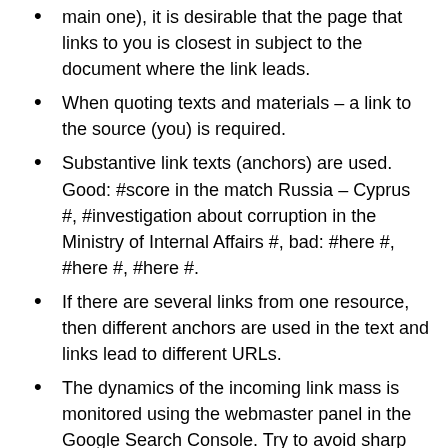main one), it is desirable that the page that links to you is closest in subject to the document where the link leads.
When quoting texts and materials – a link to the source (you) is required.
Substantive link texts (anchors) are used. Good: #score in the match Russia – Cyprus #, #investigation about corruption in the Ministry of Internal Affairs #, bad: #here #, #here #, #here #.
If there are several links from one resource, then different anchors are used in the text and links lead to different URLs.
The dynamics of the incoming link mass is monitored using the webmaster panel in the Google Search Console. Try to avoid sharp spikes in links (more than 50-70 unique link donors per date and / or more than 1% of their total).
Do not use mass means of suspension of links – aggregators, runs. When using directories, make sure that